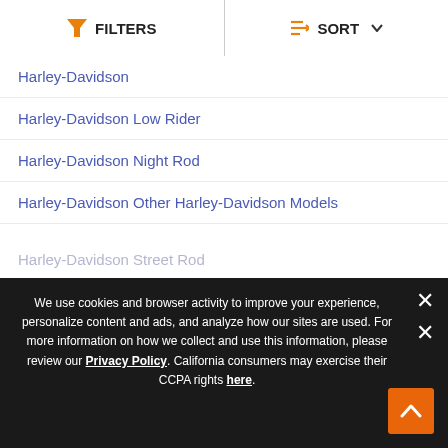FILTERS   SORT
Harley-Davidson
Harley-Davidson Low Rider
Harley-Davidson Night Rod
Harley-Davidson Other Harley-Davidson Models
Harley-Davidson Police
Harley-Davidson Shortster
Harley-Davidson Softail
Harley-Davidson Sportster
Harley-Davidson Street 500
Harley-Davidson Street 750
Harley-Davidson Street Rod
We use cookies and browser activity to improve your experience, personalize content and ads, and analyze how our sites are used. For more information on how we collect and use this information, please review our Privacy Policy. California consumers may exercise their CCPA rights here.